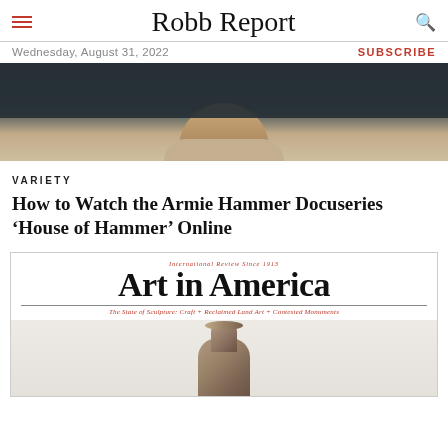Robb Report
Wednesday, August 31, 2022 | SUBSCRIBE
[Figure (photo): Cropped portrait photo of Armie Hammer showing neck and collar area against dark background]
VARIETY
How to Watch the Armie Hammer Docuseries ‘House of Hammer’ Online
[Figure (photo): Art in America magazine cover showing the masthead with subtitle 'The State of Sculpture: Craft + Reclaimed Land Art + Contested Monuments' and a ceramic vase at the bottom]
International Review Since 1913
The State of Sculpture: Craft + Reclaimed Land Art + Contested Monuments